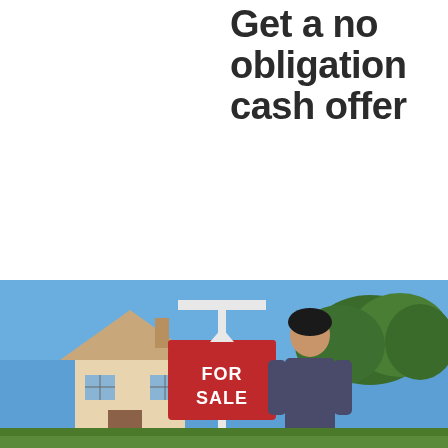Get a no obligation cash offer
[Figure (photo): A woman standing in front of a house with a red FOR SALE sign. Blue sky visible, trees in the background.]